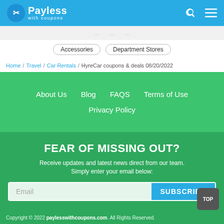Payless with coupons
Accessories
Department Stores
Home / Travel / Car Rentals / HyreCar coupons & deals 08/20/2022
About Us  Blog  FAQS  Terms of Use  Privacy Policy
FEAR OF MISSING OUT?
Receive updates and latest news direct from our team. Simply enter your email below:
Copyright © 2022 paylesswithcoupons.com. All Rights Reserved.